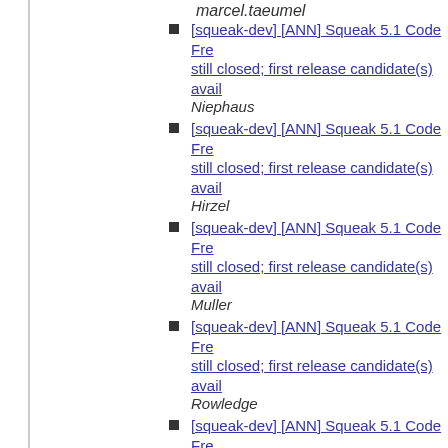marcel.taeumel
[squeak-dev] [ANN] Squeak 5.1 Code Fre... still closed; first release candidate(s) avail... Niephaus
[squeak-dev] [ANN] Squeak 5.1 Code Fre... still closed; first release candidate(s) avail... Hirzel
[squeak-dev] [ANN] Squeak 5.1 Code Fre... still closed; first release candidate(s) avail... Muller
[squeak-dev] [ANN] Squeak 5.1 Code Fre... still closed; first release candidate(s) avail... Rowledge
[squeak-dev] [ANN] Squeak 5.1 Code Fre... still closed; first release candidate(s) avail... Muller
[squeak-dev] [ANN] Squeak 5.1 Code Fre... still closed; first release candidate(s) avail... Rowledge
[squeak-dev] [ANN] Squeak 5.1 Code Fre... still closed; first release candidate(s) avail... Rowledge
[squeak-dev] [ANN] Squeak 5.1 Code Fre... still closed; first release candidate(s) avail... Niephaus
[squeak-dev] Squeak 5.1 - I am impressed - David T. Lewis